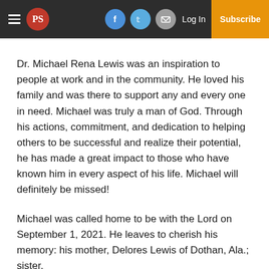PS | Log In | Subscribe
Dr. Michael Rena Lewis was an inspiration to people at work and in the community. He loved his family and was there to support any and every one in need. Michael was truly a man of God. Through his actions, commitment, and dedication to helping others to be successful and realize their potential, he has made a great impact to those who have known him in every aspect of his life. Michael will definitely be missed!
Michael was called home to be with the Lord on September 1, 2021. He leaves to cherish his memory: his mother, Delores Lewis of Dothan, Ala.; sister,